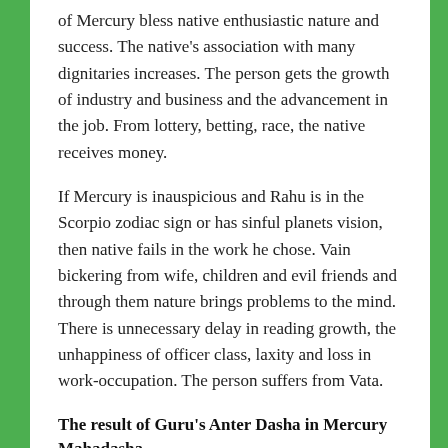of Mercury bless native enthusiastic nature and success. The native's association with many dignitaries increases. The person gets the growth of industry and business and the advancement in the job. From lottery, betting, race, the native receives money.
If Mercury is inauspicious and Rahu is in the Scorpio zodiac sign or has sinful planets vision, then native fails in the work he chose. Vain bickering from wife, children and evil friends and through them nature brings problems to the mind. There is unnecessary delay in reading growth, the unhappiness of officer class, laxity and loss in work-occupation. The person suffers from Vata.
The result of Guru's Anter Dasha in Mercury Mahadasha
In the Mahadasha of Mercury, the Guru's Anter Dasha is two years, three months and six days long.